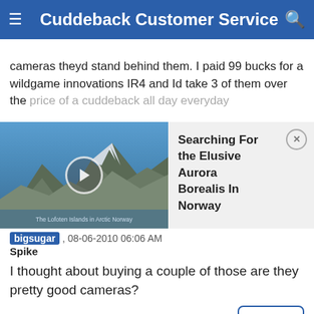Cuddeback Customer Service
cameras theyd stand behind them. I paid 99 bucks for a wildgame innovations IR4 and Id take 3 of them over the price of a cuddeback all day everyday
[Figure (screenshot): Video thumbnail showing aerial view of Arctic Norway mountains with play button overlay, titled 'Searching For the Elusive Aurora Borealis In Norway' with close button]
bigsugar , 08-06-2010 06:06 AM
Spike
I thought about buying a couple of those are they pretty good cameras?
#6
gunther89 , 08-06-2010 02:09 PM
Fork Horn